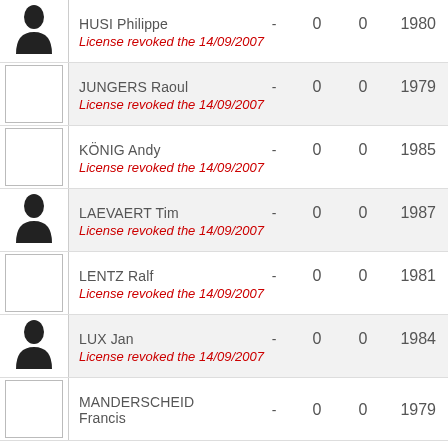| Photo | Name | - | 0 | 0 | Year |
| --- | --- | --- | --- | --- | --- |
| [photo] | HUSI Philippe | - | 0 | 0 | 1980 |
| License revoked the 14/09/2007 |
| [empty] | JUNGERS Raoul | - | 0 | 0 | 1979 |
| License revoked the 14/09/2007 |
| [empty] | KÖNIG Andy | - | 0 | 0 | 1985 |
| License revoked the 14/09/2007 |
| [photo] | LAEVAERT Tim | - | 0 | 0 | 1987 |
| License revoked the 14/09/2007 |
| [empty] | LENTZ Ralf | - | 0 | 0 | 1981 |
| License revoked the 14/09/2007 |
| [photo] | LUX Jan | - | 0 | 0 | 1984 |
| License revoked the 14/09/2007 |
| [empty] | MANDERSCHEID Francis | - | 0 | 0 | 1979 |